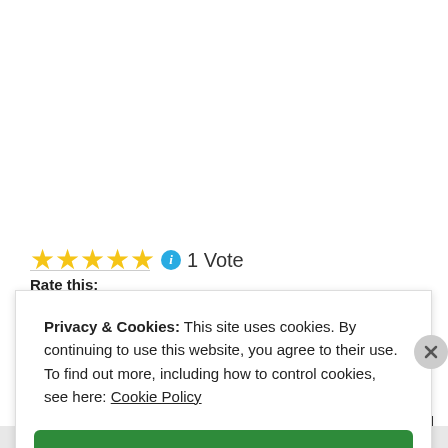[Figure (other): Five yellow star rating icons with a blue info icon, followed by '1 Vote' text]
Rate this:
Privacy & Cookies: This site uses cookies. By continuing to use this website, you agree to their use. To find out more, including how to control cookies, see here: Cookie Policy
Close and accept